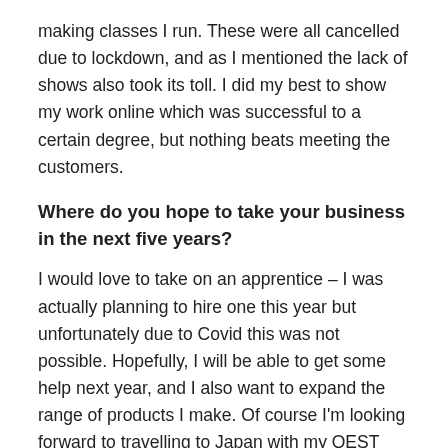making classes I run. These were all cancelled due to lockdown, and as I mentioned the lack of shows also took its toll. I did my best to show my work online which was successful to a certain degree, but nothing beats meeting the customers.
Where do you hope to take your business in the next five years?
I would love to take on an apprentice – I was actually planning to hire one this year but unfortunately due to Covid this was not possible. Hopefully, I will be able to get some help next year, and I also want to expand the range of products I make. Of course I'm looking forward to travelling to Japan with my QEST Howdens Scholarship too, as soon as that is allowed.